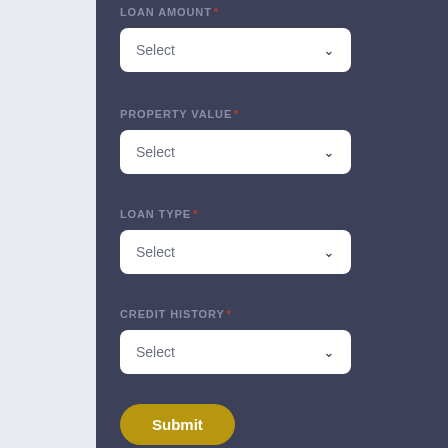LOAN AMOUNT *
[Figure (screenshot): Dropdown select box for Loan Amount]
PROPERTY VALUE *
[Figure (screenshot): Dropdown select box for Property Value]
LOAN TYPE *
[Figure (screenshot): Dropdown select box for Loan Type]
CREDIT HISTORY *
[Figure (screenshot): Dropdown select box for Credit History]
Submit